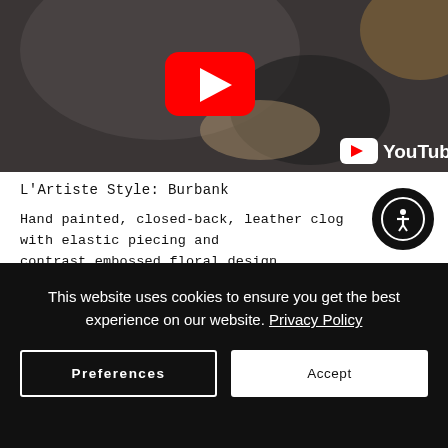[Figure (screenshot): YouTube video thumbnail showing a person in dark clothing holding a dark leather shoe/clog. Red YouTube play button in center. YouTube logo in bottom right corner.]
L'Artiste Style: Burbank
Hand painted, closed-back, leather clog with elastic piecing and contrast embossed floral design.
Heel Height (approximately): 2"
This website uses cookies to ensure you get the best experience on our website. Privacy Policy
Preferences
Accept